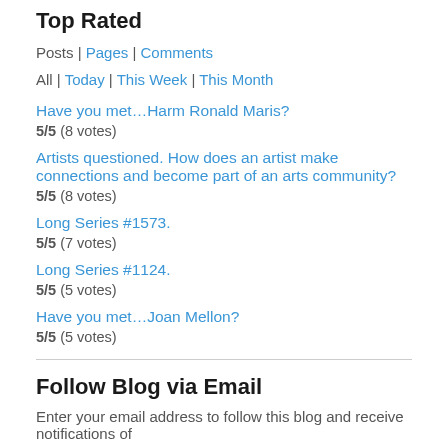Top Rated
Posts | Pages | Comments
All | Today | This Week | This Month
Have you met…Harm Ronald Maris?
5/5 (8 votes)
Artists questioned. How does an artist make connections and become part of an arts community?
5/5 (8 votes)
Long Series #1573.
5/5 (7 votes)
Long Series #1124.
5/5 (5 votes)
Have you met…Joan Mellon?
5/5 (5 votes)
Follow Blog via Email
Enter your email address to follow this blog and receive notifications of